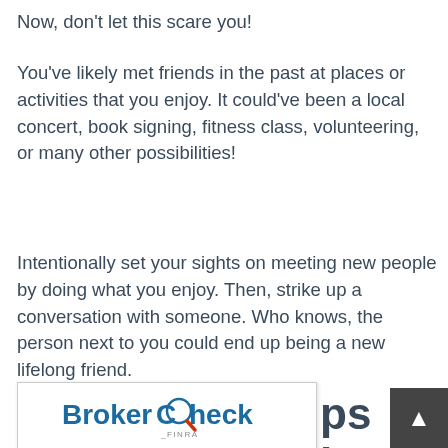Now, don't let this scare you!
You've likely met friends in the past at places or activities that you enjoy. It could've been a local concert, book signing, fitness class, volunteering, or many other possibilities!
Intentionally set your sights on meeting new people by doing what you enjoy. Then, strike up a conversation with someone. Who knows, the person next to you could end up being a new lifelong friend.
The Best Chi...ps ...ins
[Figure (logo): BrokerCheck by FINRA logo in a white box with border]
[Figure (other): Scroll to top button, dark gray square with white up arrow, bottom right corner]